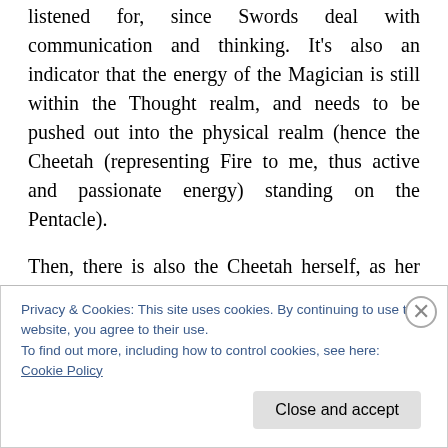listened for, since Swords deal with communication and thinking. It's also an indicator that the energy of the Magician is still within the Thought realm, and needs to be pushed out into the physical realm (hence the Cheetah (representing Fire to me, thus active and passionate energy) standing on the Pentacle).
Then, there is also the Cheetah herself, as her animal self. She is the representation of energy readying itself to move. A cheetah watches her prey and then races toward it. They're known as being one of the fastest animals, and thus, the message of the Cheetah is to focus on the target
Privacy & Cookies: This site uses cookies. By continuing to use this website, you agree to their use.
To find out more, including how to control cookies, see here:
Cookie Policy